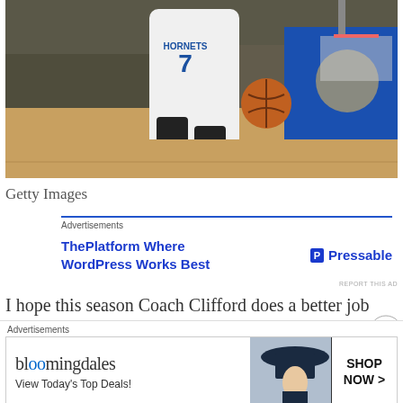[Figure (photo): Basketball player in white Hornets jersey number 7 dribbling on court with NBA backdrop and crowd in background]
Getty Images
Advertisements
[Figure (screenshot): Advertisement: ThePlatform Where WordPress Works Best — Pressable logo on right]
REPORT THIS AD
I hope this season Coach Clifford does a better job
Advertisements
[Figure (screenshot): Bloomingdales advertisement: bloomingdales logo with View Today's Top Deals! text and woman in hat, SHOP NOW > button]